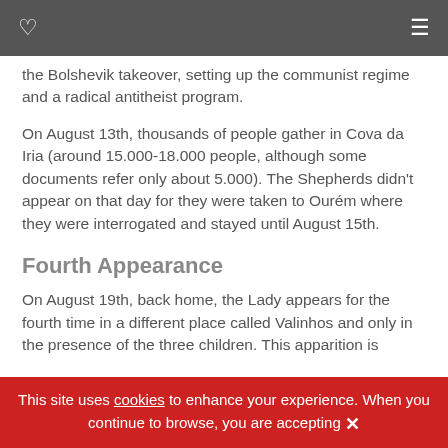the Bolshevik takeover, setting up the communist regime and a radical antitheist program.
On August 13th, thousands of people gather in Cova da Iria (around 15.000-18.000 people, although some documents refer only about 5.000). The Shepherds didn't appear on that day for they were taken to Ourém where they were interrogated and stayed until August 15th.
Fourth Appearance
On August 19th, back home, the Lady appears for the fourth time in a different place called Valinhos and only in the presence of the three children. This apparition is
This site uses cookies to enhance your experience. When you continue to browse, you are accepting ✕